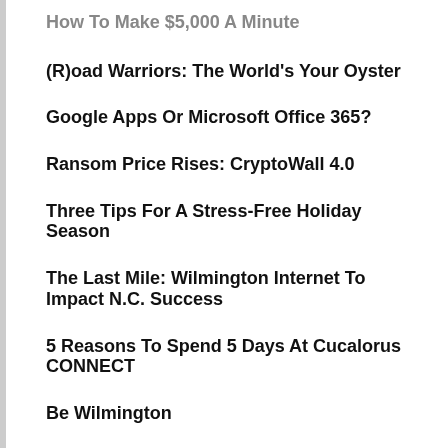How To Make $5,000 A Minute
(R)oad Warriors: The World's Your Oyster
Google Apps Or Microsoft Office 365?
Ransom Price Rises: CryptoWall 4.0
Three Tips For A Stress-Free Holiday Season
The Last Mile: Wilmington Internet To Impact N.C. Success
5 Reasons To Spend 5 Days At Cucalorus CONNECT
Be Wilmington
Internet Diversity: No More Downtime
6 Steps To Backup Nirvana
Can Managed Services Mean Greater